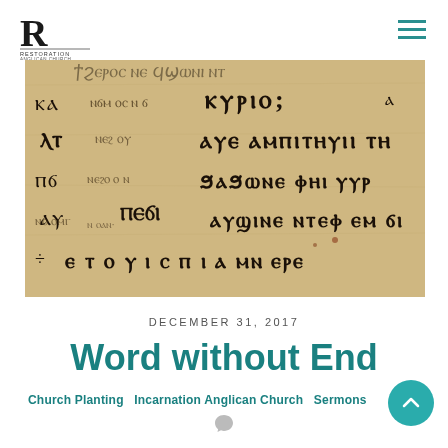Restoration Anglican Church
[Figure (photo): Close-up photograph of ancient manuscript with Syriac or similar script written in dark ink on aged parchment/vellum]
DECEMBER 31, 2017
Word without End
Church Planting  Incarnation Anglican Church  Sermons